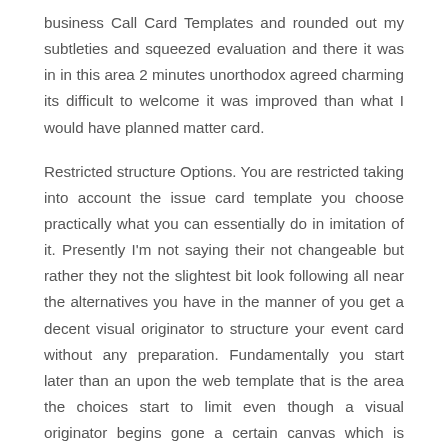business Call Card Templates and rounded out my subtleties and squeezed evaluation and there it was in in this area 2 minutes unorthodox agreed charming its difficult to welcome it was improved than what I would have planned matter card.
Restricted structure Options. You are restricted taking into account the issue card template you choose practically what you can essentially do in imitation of it. Presently I'm not saying their not changeable but rather they not the slightest bit look following all near the alternatives you have in the manner of you get a decent visual originator to structure your event card without any preparation. Fundamentally you start later than an upon the web template that is the area the choices start to limit even though a visual originator begins gone a certain canvas which is endless in its prospects. There are mature subsequent to this exploit of adaptability is basic for you plans however shockingly for me there are additionally get older where its not as significant and a Call Card Templates would bill safe for those positions.